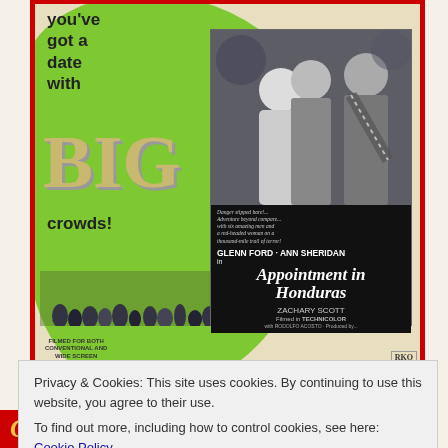[Figure (photo): Vintage movie advertisement poster for 'Appointment in Honduras' featuring a green painted background with text 'you've got a date with BIG crowds!' and a black-and-white photo card showing Glenn Ford, Ann Sheridan, and Zachary Scott. The poster has a red border and includes production details in Technicolor.]
Privacy & Cookies: This site uses cookies. By continuing to use this website, you agree to their use.
To find out more, including how to control cookies, see here: Cookie Policy
[Figure (photo): Bottom strip showing partial text 'COVER GIRL' in stylized golden/yellow lettering on a red background]